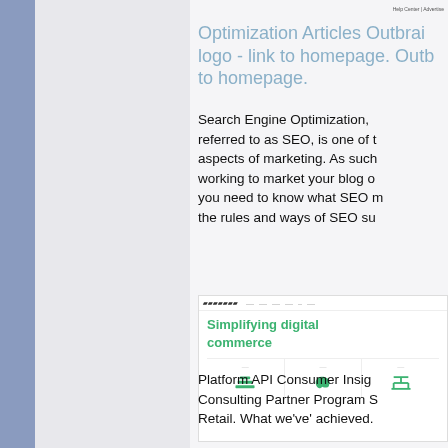Help Center | Advertise
Optimization Articles Outbrain logo - link to homepage. Outbrain - link to homepage.
Search Engine Optimization, commonly referred to as SEO, is one of the most important aspects of marketing. As such, if you're working to market your blog or website, you need to know what SEO means and the rules and ways of SEO su...
[Figure (screenshot): Screenshot of a website with green branding showing 'Simplifying digital commerce' headline and three icon boxes below the navigation bar with icons for platform features.]
Platform API Consumer Insights Consulting Partner Program S... Retail. What we've' achieved...